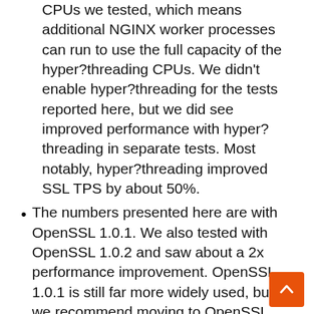CPUs we tested, which means additional NGINX worker processes can run to use the full capacity of the hyper?threading CPUs. We didn't enable hyper?threading for the tests reported here, but we did see improved performance with hyper?threading in separate tests. Most notably, hyper?threading improved SSL TPS by about 50%.
The numbers presented here are with OpenSSL 1.0.1. We also tested with OpenSSL 1.0.2 and saw about a 2x performance improvement. OpenSSL 1.0.1 is still far more widely used, but we recommend moving to OpenSSL 1.0.2, for better security as well as better performance.